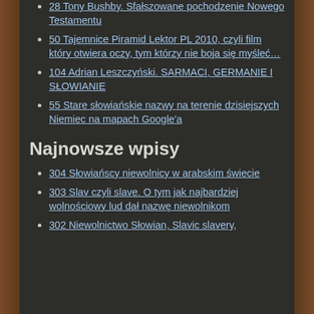28 Tony Bushby. Sfałszowane pochodzenie Nowego Testamentu
50 Tajemnice Piramid Lektor PL 2010, czyli film który otwiera oczy, tym którzy nie boja się myśleć…
104 Adrian Leszczyński. SARMACI, GERMANIE I SŁOWIANIE
55 Stare słowiańskie nazwy na terenie dzisiejszych Niemiec na mapach Google'a
Najnowsze wpisy
304 Słowiańscy niewolnicy w arabskim świecie
303 Slav czyli slave. O tym jak najbardziej wolnościowy lud dał nazwę niewolnikom
302 Niewolnictwo Słowian, Slavic slavery,